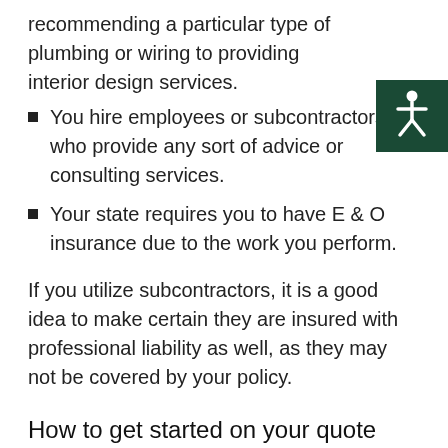recommending a particular type of plumbing or wiring to providing interior design services.
[Figure (illustration): Accessibility icon (wheelchair symbol) on dark green square background]
You hire employees or subcontractors who provide any sort of advice or consulting services.
Your state requires you to have E & O insurance due to the work you perform.
If you utilize subcontractors, it is a good idea to make certain they are insured with professional liability as well, as they may not be covered by your policy.
How to get started on your quote